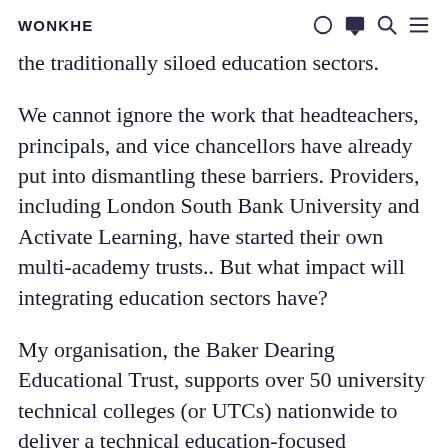WONKHE
the traditionally siloed education sectors.
We cannot ignore the work that headteachers, principals, and vice chancellors have already put into dismantling these barriers. Providers, including London South Bank University and Activate Learning, have started their own multi-academy trusts.. But what impact will integrating education sectors have?
My organisation, the Baker Dearing Educational Trust, supports over 50 university technical colleges (or UTCs) nationwide to deliver a technical education-focused curriculum in a secondary